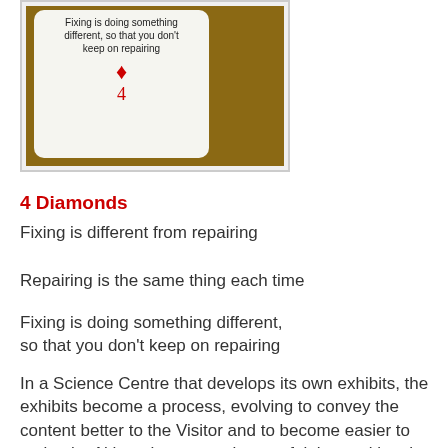[Figure (photo): A playing card (4 of Diamonds) on a wooden surface. The card text reads 'Fixing is doing something different, so that you don't keep on repairing' with a red diamond suit symbol and the number 4.]
4 Diamonds
Fixing is different from repairing
Repairing is the same thing each time
Fixing is doing something different, so that you don't keep on repairing
In a Science Centre that develops its own exhibits, the exhibits become a process, evolving to convey the content better to the Visitor and to become easier to maintain. Although we must be careful that making the exhibit easier to maintain doesn't harm the learning experience. In one